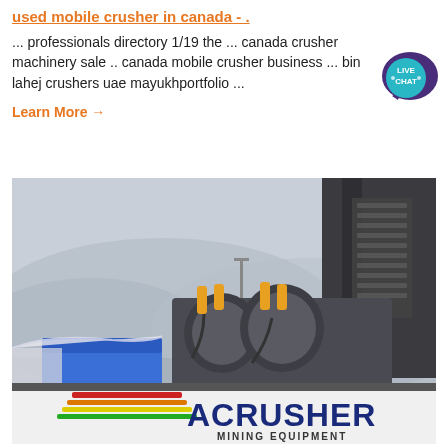used mobile crusher in canada - .
... professionals directory 1/19 the ... canada crusher machinery sale .. canada mobile crusher business ... bin lahej crushers uae mayukhportfolio ...
Learn More →
[Figure (photo): Photo of industrial mobile crusher equipment with ACRUSHER MINING EQUIPMENT branding visible on a sign in the foreground. Heavy dark metal crusher machinery is shown against a misty mountain background.]